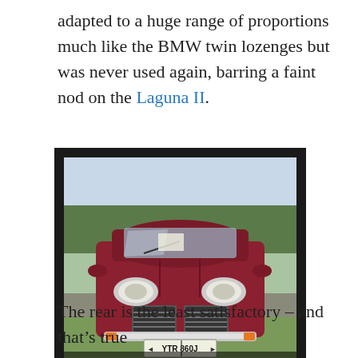adapted to a huge range of proportions much like the BMW twin lozenges but was never used again, barring a faint nod on the Laguna II.
[Figure (photo): Front view of a dark red 1965 Renault 16 car with license plate YTR 860J, parked on grass at an outdoor event. Black border frame around the photo with caption '1965 Renault 16'.]
The rear is the least satisfactory – and that's true